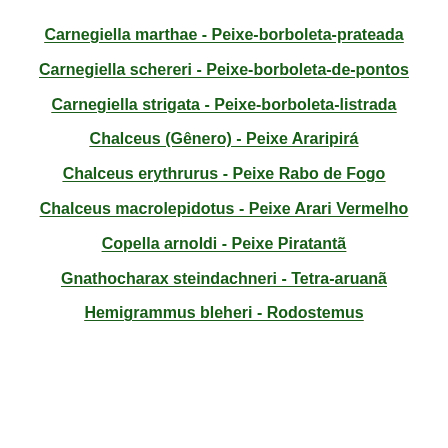Carnegiella marthae - Peixe-borboleta-prateada
Carnegiella schereri - Peixe-borboleta-de-pontos
Carnegiella strigata - Peixe-borboleta-listrada
Chalceus (Gênero) - Peixe Araripirá
Chalceus erythrurus - Peixe Rabo de Fogo
Chalceus macrolepidotus - Peixe Arari Vermelho
Copella arnoldi - Peixe Piratantã
Gnathocharax steindachneri - Tetra-aruanã
Hemigrammus bleheri - Rodostemus